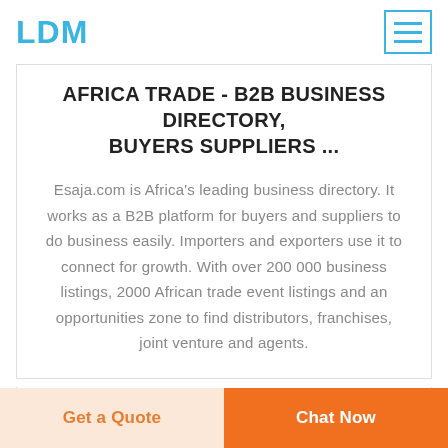LDM
AFRICA TRADE - B2B BUSINESS DIRECTORY, BUYERS SUPPLIERS ...
Esaja.com is Africa's leading business directory. It works as a B2B platform for buyers and suppliers to do business easily. Importers and exporters use it to connect for growth. With over 200 000 business listings, 2000 African trade event listings and an opportunities zone to find distributors, franchises, joint venture and agents.
READ MORE
Get a Quote   Chat Now